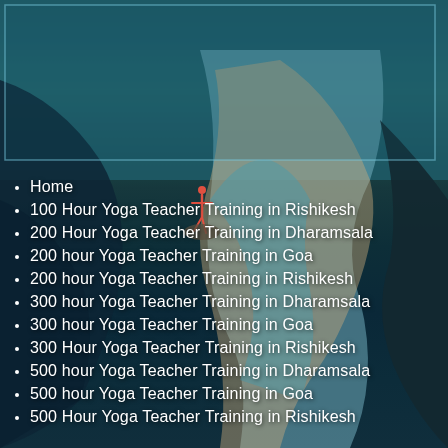[Figure (photo): Aerial view of a river winding through rocky landscape with mountains and sandy banks, teal/teal-green water. A person doing yoga on a rock is visible in the middle distance. A translucent bordered rectangle overlays the upper portion of the image.]
Home
100 Hour Yoga Teacher Training in Rishikesh
200 Hour Yoga Teacher Training in Dharamsala
200 hour Yoga Teacher Training in Goa
200 hour Yoga Teacher Training in Rishikesh
300 hour Yoga Teacher Training in Dharamsala
300 hour Yoga Teacher Training in Goa
300 Hour Yoga Teacher Training in Rishikesh
500 hour Yoga Teacher Training in Dharamsala
500 hour Yoga Teacher Training in Goa
500 Hour Yoga Teacher Training in Rishikesh